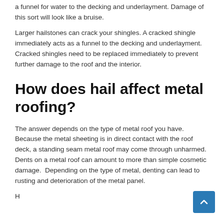a funnel for water to the decking and underlayment. Damage of this sort will look like a bruise.
Larger hailstones can crack your shingles. A cracked shingle immediately acts as a funnel to the decking and underlayment. Cracked shingles need to be replaced immediately to prevent further damage to the roof and the interior.
How does hail affect metal roofing?
The answer depends on the type of metal roof you have. Because the metal sheeting is in direct contact with the roof deck, a standing seam metal roof may come through unharmed. Dents on a metal roof can amount to more than simple cosmetic damage.  Depending on the type of metal, denting can lead to rusting and deterioration of the metal panel.
H...